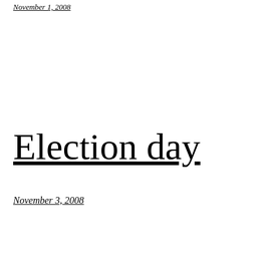November 1, 2008
Election day
November 3, 2008